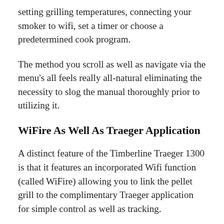setting grilling temperatures, connecting your smoker to wifi, set a timer or choose a predetermined cook program.
The method you scroll as well as navigate via the menu's all feels really all-natural eliminating the necessity to slog the manual thoroughly prior to utilizing it.
WiFire As Well As Traeger Application
A distinct feature of the Timberline Traeger 1300 is that it features an incorporated Wifi function (called WiFire) allowing you to link the pellet grill to the complimentary Traeger application for simple control as well as tracking.
When you make use of the app you can surf over